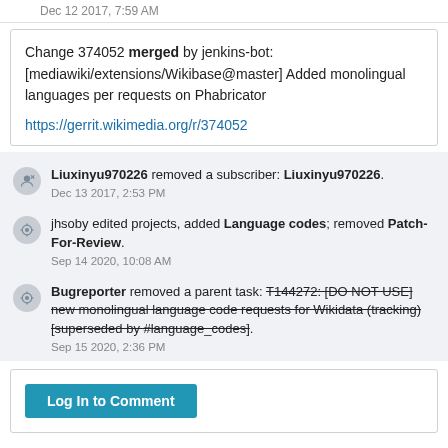Dec 12 2017, 7:59 AM
Change 374052 merged by jenkins-bot: [mediawiki/extensions/Wikibase@master] Added monolingual languages per requests on Phabricator
https://gerrit.wikimedia.org/r/374052
Liuxinyu970226 removed a subscriber: Liuxinyu970226. Dec 13 2017, 2:53 PM
jhsoby edited projects, added Language codes; removed Patch-For-Review. Sep 14 2020, 10:08 AM
Bugreporter removed a parent task: T144272: [DO NOT USE] new monolingual language code requests for Wikidata (tracking) [superseded by #language_codes]. Sep 15 2020, 2:36 PM
Log In to Comment